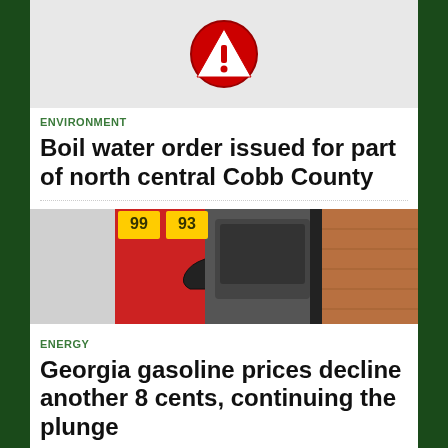[Figure (photo): Top image strip with warning icon in center flanked by gray placeholder boxes]
ENVIRONMENT
Boil water order issued for part of north central Cobb County
[Figure (photo): Gas station pump photo showing red pump with price signs showing 99 and 93 cents]
ENERGY
Georgia gasoline prices decline another 8 cents, continuing the plunge